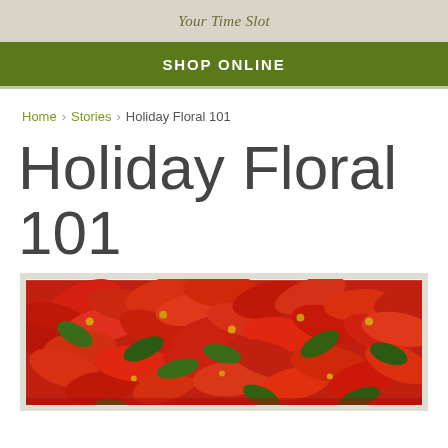Your Time Slot
SHOP ONLINE
Home > Stories > Holiday Floral 101
Holiday Floral 101
[Figure (photo): Close-up photograph of red poinsettia flowers with green leaves, densely packed, holiday floral display]